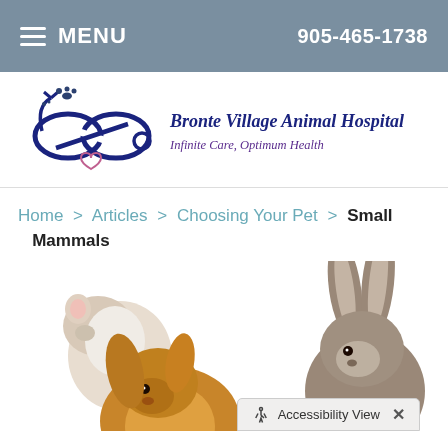≡ MENU   905-465-1738
[Figure (logo): Bronte Village Animal Hospital logo — infinity symbol shaped as stethoscope with paw prints, navy blue]
Bronte Village Animal Hospital — Infinite Care, Optimum Health
Home > Articles > Choosing Your Pet > Small Mammals
[Figure (photo): Photo of small mammals: a white hamster/mouse, a fluffy golden guinea pig or rabbit, and a grey rabbit with tall ears, on a white background]
Accessibility View  ×